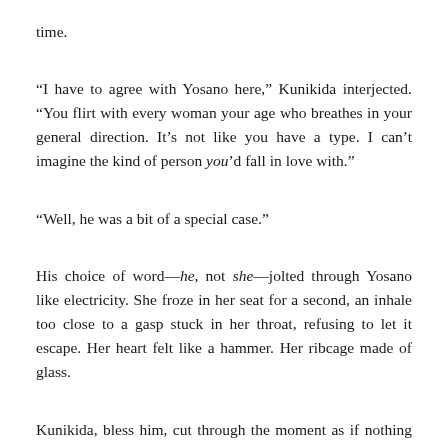time.
“I have to agree with Yosano here,” Kunikida interjected. “You flirt with every woman your age who breathes in your general direction. It’s not like you have a type. I can’t imagine the kind of person you’d fall in love with.”
“Well, he was a bit of a special case.”
His choice of word—he, not she—jolted through Yosano like electricity. She froze in her seat for a second, an inhale too close to a gasp stuck in her throat, refusing to let it escape. Her heart felt like a hammer. Her ribcage made of glass.
Kunikida, bless him, cut through the moment as if nothing had happened: “I see.”
Dazai had stopped hitting his kneecap with his fingers. He